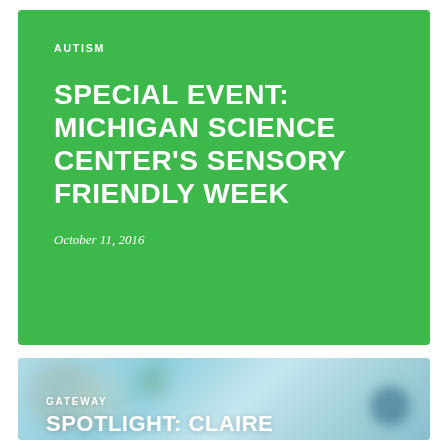AUTISM
SPECIAL EVENT: MICHIGAN SCIENCE CENTER'S SENSORY FRIENDLY WEEK
October 11, 2016
[Figure (photo): Blurred background photo with bokeh circles in light blue/green tones with a dark blue element at the right edge, serving as the background for the GATEWAY section card]
GATEWAY
SPOTLIGHT: CLAIRE